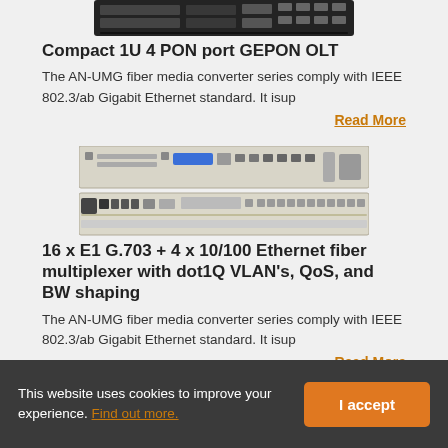[Figure (photo): Photo of a rack-mountable 1U network device (Compact 1U 4 PON port GEPON OLT), dark chassis with connectors on the front panel]
Compact 1U 4 PON port GEPON OLT
The AN-UMG fiber media converter series comply with IEEE 802.3/ab Gigabit Ethernet standard. It isup
Read More
[Figure (photo): Photos of two rack-mountable 1U network devices (16 x E1 G.703 + 4 x 10/100 Ethernet fiber multiplexer), beige/cream chassis with ports and connectors on the front panel]
16 x E1 G.703 + 4 x 10/100 Ethernet fiber multiplexer with dot1Q VLAN's, QoS, and BW shaping
The AN-UMG fiber media converter series comply with IEEE 802.3/ab Gigabit Ethernet standard. It isup
Read More
This website uses cookies to improve your experience. Find out more.